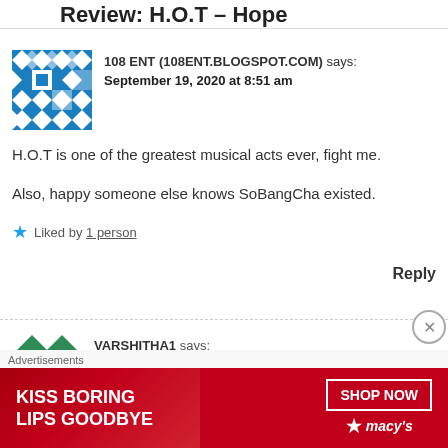Review: H.O.T – Hope
108 ENT (108ENT.BLOGSPOT.COM) says:
September 19, 2020 at 8:51 am

H.O.T is one of the greatest musical acts ever, fight me.

Also, happy someone else knows SoBangCha existed.

Liked by 1 person

Reply
VARSHITHA1 says:
[Figure (screenshot): Ad banner: KISS BORING LIPS GOODBYE with SHOP NOW button and Macy's logo]